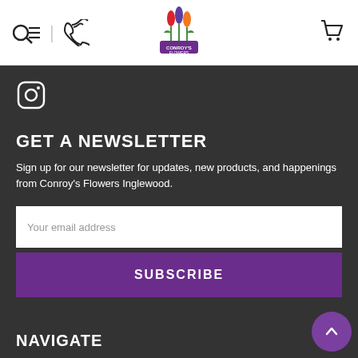[Figure (logo): Conroy's Flowers logo with colorful tulips/flowers and purple banner]
[Figure (illustration): Search/list icon and phone/call icon on left side of header]
[Figure (illustration): Shopping cart icon on right side of header]
[Figure (illustration): Instagram icon in dark section]
GET A NEWSLETTER
Sign up for our newsletter for updates, new products, and happenings from Conroy's Flowers Inglewood.
Your email address
SUBSCRIBE
NAVIGATE